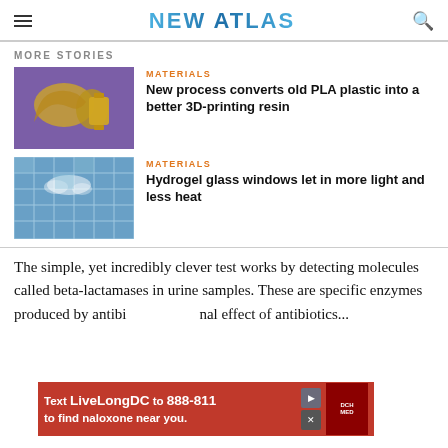NEW ATLAS
MORE STORIES
MATERIALS
New process converts old PLA plastic into a better 3D-printing resin
[Figure (photo): Golden PLA plastic objects on purple background]
MATERIALS
Hydrogel glass windows let in more light and less heat
[Figure (photo): Glass building facade reflecting blue sky with clouds]
The simple, yet incredibly clever test works by detecting molecules called beta-lactamases in urine samples. These are specific enzymes produced by antibi... ...nal effect of antibiotics...
[Figure (other): Advertisement banner: Text LiveLongDC to 888-811 to find naloxone near you.]